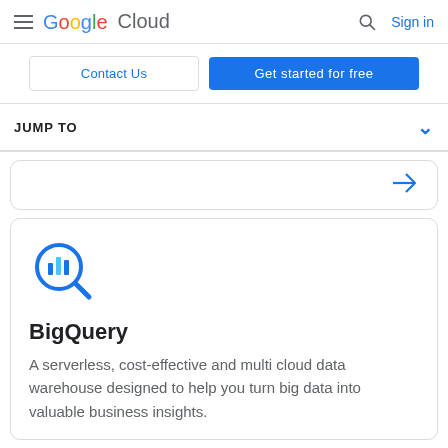Google Cloud — Sign in
Contact Us
Get started for free
JUMP TO
[Figure (illustration): Right arrow icon in blue]
[Figure (logo): BigQuery magnifying glass icon with bar chart inside, in blue]
BigQuery
A serverless, cost-effective and multi cloud data warehouse designed to help you turn big data into valuable business insights.